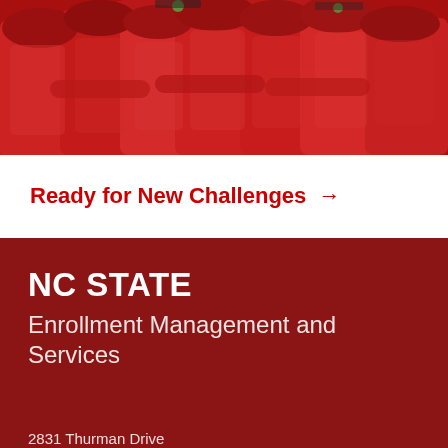[Figure (photo): Group of graduates in red caps and gowns huddled together, viewed from behind]
Ready for New Challenges →
NC STATE
Enrollment Management and Services
2831 Thurman Drive